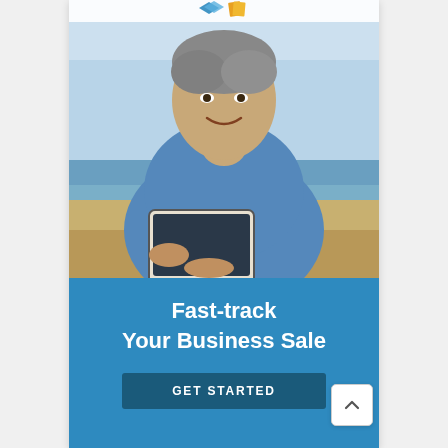[Figure (photo): Middle-aged man with gray hair smiling, lying on a beach holding a tablet device, wearing a blue shirt. Background shows ocean/sky. Logo icons visible at top.]
Fast-track Your Business Sale
GET STARTED